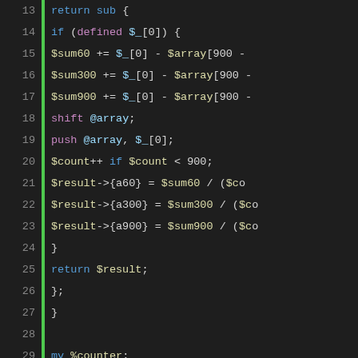[Figure (screenshot): Syntax-highlighted Perl source code, lines 13–38, showing a moving average subroutine and Win32::PerfLib counter initialization, displayed in a dark code editor theme with line numbers and a green left border.]